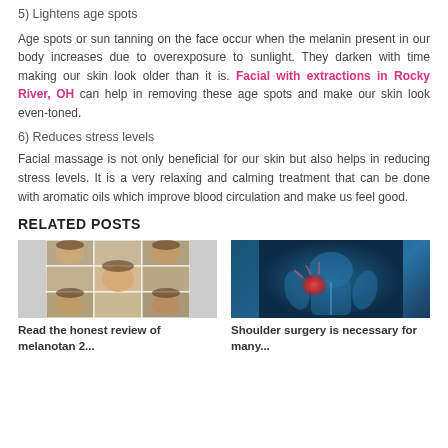5) Lightens age spots
Age spots or sun tanning on the face occur when the melanin present in our body increases due to overexposure to sunlight. They darken with time making our skin look older than it is. Facial with extractions in Rocky River, OH can help in removing these age spots and make our skin look even-toned.
6) Reduces stress levels
Facial massage is not only beneficial for our skin but also helps in reducing stress levels. It is a very relaxing and calming treatment that can be done with aromatic oils which improve blood circulation and make us feel good.
RELATED POSTS
[Figure (photo): Grid of face photos showing a woman from multiple angles]
Read the honest review of melanotan 2...
[Figure (photo): Blue-tinted medical illustration of a person with shoulder/chest pain highlighted in red]
Shoulder surgery is necessary for many...